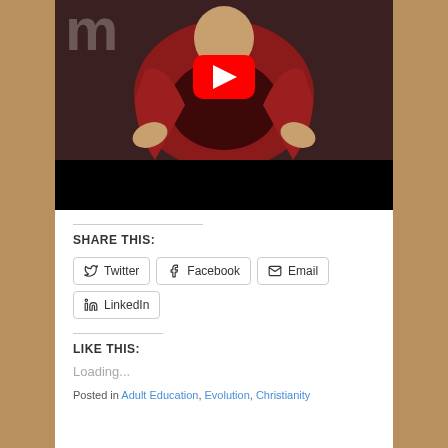[Figure (screenshot): YouTube video thumbnail showing an elderly woman in a red cardigan speaking with hands raised, with a YouTube play button overlay. Lower portion of thumbnail is black.]
SHARE THIS:
[Figure (infographic): Row of social share buttons: Twitter, Facebook, Email, LinkedIn]
LIKE THIS:
Loading...
Posted in Adult Education, Evolution, Christianity